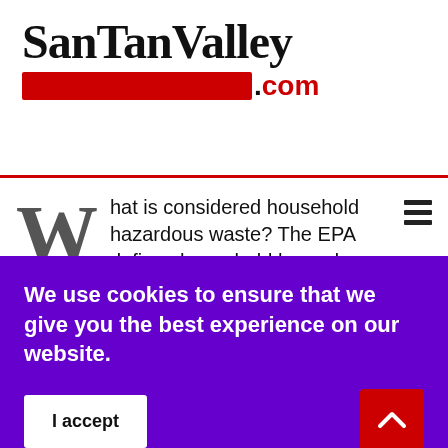SanTanValley.com
W hat is considered household hazardous waste? The EPA defines household hazardous waste as "leftover...
Tuesday, 13 August 2019
[Figure (photo): Dark blue rectangular image, partially visible]
We use cookies to ensure that we give you the best experience on our website.
I accept